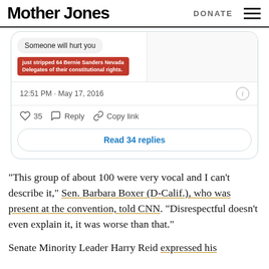Mother Jones | DONATE
[Figure (screenshot): Screenshot of a tweet showing a text bubble 'Someone will hurt you' and a red banner reading 'just stripped 64 Bernie Sanders Nevada Delegates of their constitutional rights.' with timestamp 12:51 PM · May 17, 2016, 35 likes, Reply, Copy link actions, and Read 34 replies button.]
“This group of about 100 were very vocal and I can’t describe it,” Sen. Barbara Boxer (D-Calif.), who was present at the convention, told CNN. “Disrespectful doesn’t even explain it, it was worse than that.”
Senate Minority Leader Harry Reid expressed his disap...